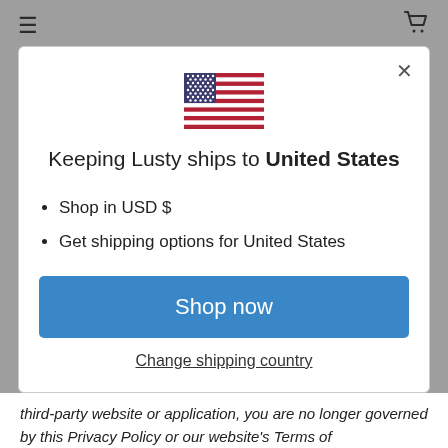[Figure (illustration): US flag emoji / icon centered above modal title]
Keeping Lusty ships to United States
Shop in USD $
Get shipping options for United States
Shop now
Change shipping country
third-party website or application, you are no longer governed by this Privacy Policy or our website's Terms of